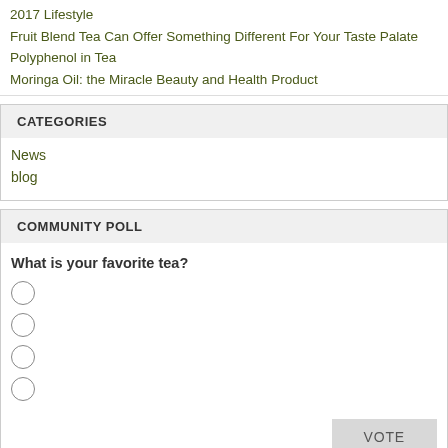2017 Lifestyle
Fruit Blend Tea Can Offer Something Different For Your Taste Palate
Polyphenol in Tea
Moringa Oil: the Miracle Beauty and Health Product
CATEGORIES
News
blog
COMMUNITY POLL
What is your favorite tea?
VOTE